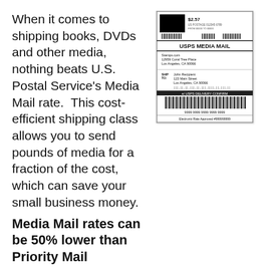When it comes to shipping books, DVDs and other media, nothing beats U.S. Postal Service's Media Mail rate. This cost-efficient shipping class allows you to send pounds of media for a fraction of the cost, which can save your small business money.
[Figure (other): USPS Media Mail shipping label showing $2.57 postage, sender address Stamps.com 12959 Coral Tree Place Los Angeles CA 90066, recipient John Recipient 123 Main Street Los Angeles CA 90066, barcode, 'a/ USPS DELIVERY CONFIRM', barcode number 9999 9999 9999 9999 9999, Electronic Rate Approved #999999999]
Media Mail rates can be 50% lower than Priority Mail
Media Mail starts at $2.38 for the first pound and 39 cents for each additional pound. If you mail a 3-pound package of books through Media Mail, it will cost $3.16 compared to the $10.20 it would cost to mail the